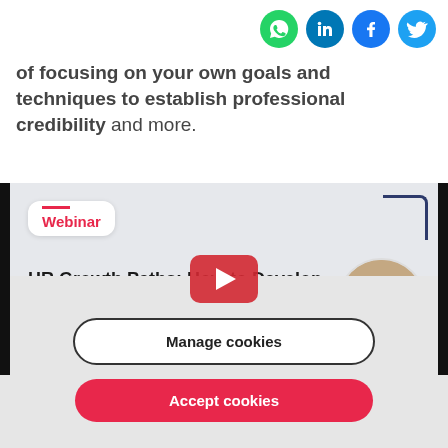[Figure (other): Social media share icons: WhatsApp (green), LinkedIn (blue), Facebook (blue), Twitter (light blue)]
of focusing on your own goals and techniques to establish professional credibility and more.
[Figure (screenshot): Video thumbnail for webinar titled 'HR Growth Paths: How to Develop as a Professional' with a red play button overlay, a Webinar badge, decorative corner element, and a circular photo of a person]
FACTORIAL uses cookies to personalize content and
Manage cookies
Accept cookies